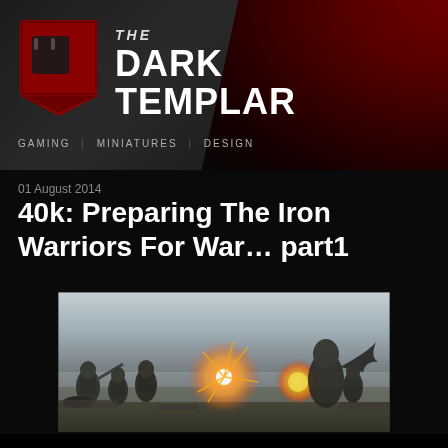[Figure (screenshot): The Dark Templar website header banner with logo shield icon on dark textured background and red grunge element on right side. Text reads THE DARK TEMPLAR with navigation: GAMING | MINIATURES | DESIGN]
01 August 2014
40k: Preparing The Iron Warriors For War… part1
[Figure (illustration): Dark fantasy battle scene showing armored warriors fighting, with explosions and dramatic lighting in grays and golds]
With the inevitability of conflict rapidly escalating, I thought it was a good time to see what Iron Warrior forces were